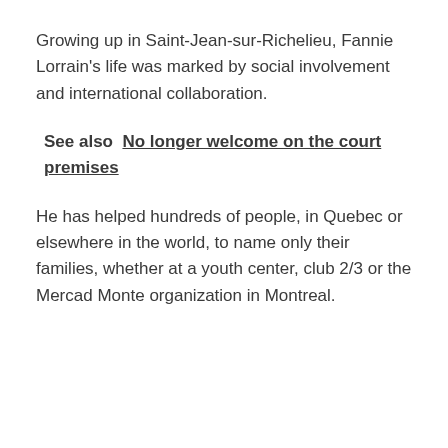Growing up in Saint-Jean-sur-Richelieu, Fannie Lorrain's life was marked by social involvement and international collaboration.
See also  No longer welcome on the court premises
He has helped hundreds of people, in Quebec or elsewhere in the world, to name only their families, whether at a youth center, club 2/3 or the Mercad Monte organization in Montreal.